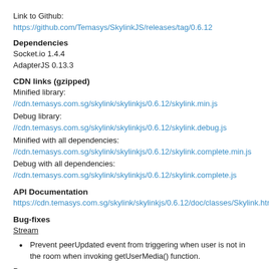Link to Github: https://github.com/Temasys/SkylinkJS/releases/tag/0.6.12
Dependencies
Socket.io 1.4.4
AdapterJS 0.13.3
CDN links (gzipped)
Minified library: //cdn.temasys.com.sg/skylink/skylinkjs/0.6.12/skylink.min.js
Debug library: //cdn.temasys.com.sg/skylink/skylinkjs/0.6.12/skylink.debug.js
Minified with all dependencies:
//cdn.temasys.com.sg/skylink/skylinkjs/0.6.12/skylink.complete.min.js
Debug with all dependencies:
//cdn.temasys.com.sg/skylink/skylinkjs/0.6.12/skylink.complete.js
API Documentation
https://cdn.temasys.com.sg/skylink/skylinkjs/0.6.12/doc/classes/Skylink.html
Bug-fixes
Stream
Prevent peerUpdated event from triggering when user is not in the room when invoking getUserMedia() function.
Peer
Fixes to allow Chrome 50 / Opera 37 to connect with IE / Safari with plugin versions 0.8.866 and 0.8.869.